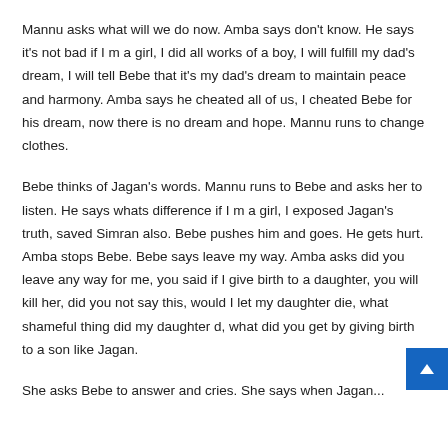Mannu asks what will we do now. Amba says don't know. He says it's not bad if I m a girl, I did all works of a boy, I will fulfill my dad's dream, I will tell Bebe that it's my dad's dream to maintain peace and harmony. Amba says he cheated all of us, I cheated Bebe for his dream, now there is no dream and hope. Mannu runs to change clothes.
Bebe thinks of Jagan's words. Mannu runs to Bebe and asks her to listen. He says whats difference if I m a girl, I exposed Jagan's truth, saved Simran also. Bebe pushes him and goes. He gets hurt. Amba stops Bebe. Bebe says leave my way. Amba asks did you leave any way for me, you said if I give birth to a daughter, you will kill her, did you not say this, would I let my daughter die, what shameful thing did my daughter d, what did you get by giving birth to a son like Jagan.
She asks Bebe to answer and cries. She says when Jagan...